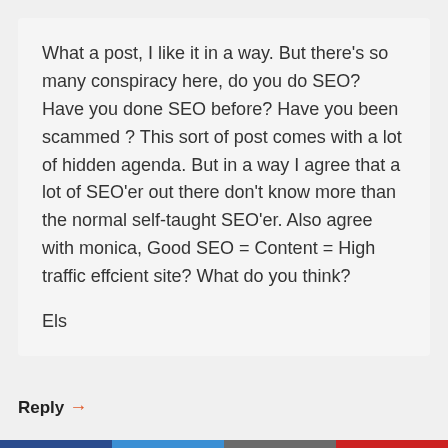What a post, I like it in a way. But there's so many conspiracy here, do you do SEO? Have you done SEO before? Have you been scammed ? This sort of post comes with a lot of hidden agenda. But in a way I agree that a lot of SEO'er out there don't know more than the normal self-taught SEO'er. Also agree with monica, Good SEO = Content = High traffic effcient site? What do you think?
Els
Reply →